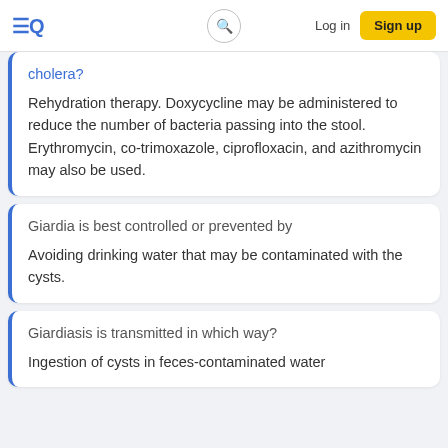≡Q  [search]  Log in  Sign up
cholera?
Rehydration therapy. Doxycycline may be administered to reduce the number of bacteria passing into the stool. Erythromycin, co-trimoxazole, ciprofloxacin, and azithromycin may also be used.
Giardia is best controlled or prevented by
Avoiding drinking water that may be contaminated with the cysts.
Giardiasis is transmitted in which way?
Ingestion of cysts in feces-contaminated water